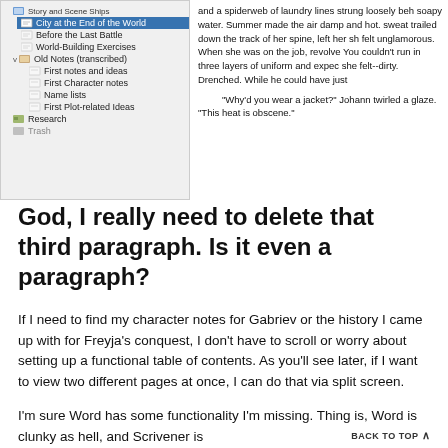[Figure (screenshot): Screenshot of Scrivener sidebar showing story and scene structure including 'City at the End of the World', 'Before the Last Battle', 'World-Building Exercises', 'Old Notes (transcribed)' with subitems, and 'Research' folder, alongside a text panel showing a fiction excerpt about heat and a character named Johann.]
God, I really need to delete that third paragraph.  Is it even a paragraph?
If I need to find my character notes for Gabriev or the history I came up with for Freyja's conquest, I don't have to scroll or worry about setting up a functional table of contents.  As you'll see later, if I want to view two different pages at once, I can do that via split screen.
I'm sure Word has some functionality I'm missing.  Thing is, Word is clunky as hell, and Scrivener is
BACK TO TOP ↑